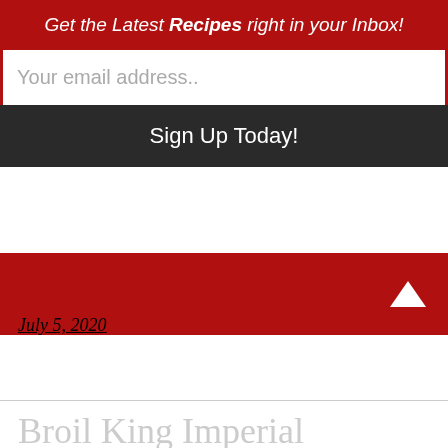Get the Latest Recipes right in your Inbox!
Your email address..
Sign Up Today!
July 5, 2020
Broil King Imperial